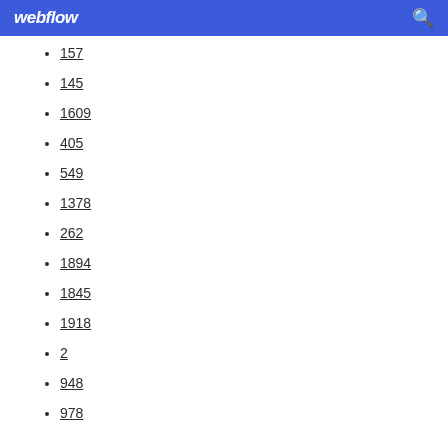webflow
157
145
1609
405
549
1378
262
1894
1845
1918
2
948
978